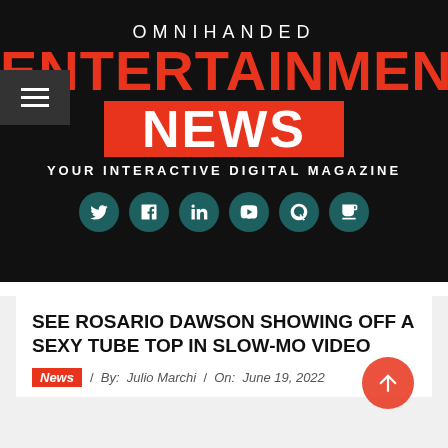OMNIHANDED
ENTERTAINMENT NEWS
YOUR INTERACTIVE DIGITAL MAGAZINE
[Figure (illustration): Row of six circular social media icon buttons (Twitter, Facebook, LinkedIn, YouTube, Quora, Stack Overflow) on dark background]
SEE ROSARIO DAWSON SHOWING OFF A SEXY TUBE TOP IN SLOW-MO VIDEO
News  /  By:  Julio Marchi  /  On:  June 19, 2022